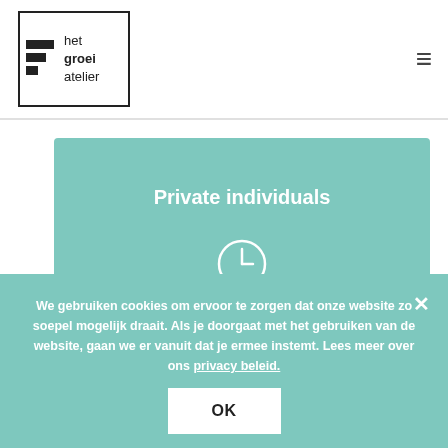[Figure (logo): het groei atelier logo with staircase steps icon inside a bordered box]
Private individuals
[Figure (illustration): Clock/time icon in white outline style]
€109 per hour (incl. VAT)
We gebruiken cookies om ervoor te zorgen dat onze website zo soepel mogelijk draait. Als je doorgaat met het gebruiken van de website, gaan we er vanuit dat je ermee instemt. Lees meer over ons privacy beleid.
OK